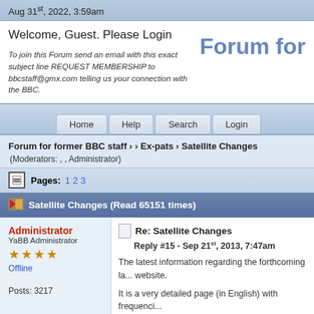Aug 31st, 2022, 3:59am
Welcome, Guest. Please Login
To join this Forum send an email with this exact subject line REQUEST MEMBERSHIP to bbcstaff@gmx.com telling us your connection with the BBC.
Forum for
Home  Help  Search  Login
Forum for former BBC staff › › Ex-pats › Satellite Changes
(Moderators: , , Administrator)
Pages: 1 2 3
Satellite Changes (Read 65151 times)
Administrator
YaBB Administrator
Offline
Posts: 3217
Re: Satellite Changes
Reply #15 - Sep 21st, 2013, 7:47am
The latest information regarding the forthcoming la... website.
It is a very detailed page (in English) with frequenci...
Once again, the caveat must be stated, nobody kno... launched safely into the correct orbital location a...